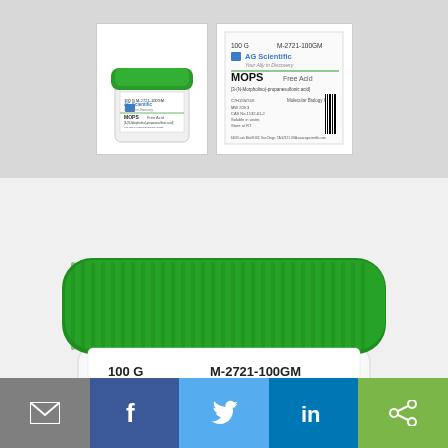[Figure (photo): Thumbnail image of white jar with green lid - AG Scientific MOPS Free Acid product]
[Figure (photo): Thumbnail image of product label for MOPS Free Acid M-2721-100GM by AG Scientific]
[Figure (photo): Main large product photo: white plastic jar with green lid labeled MOPS Free Acid 100G M-2721-100GM by AG Scientific, Molecular Biology Grade, 3-(N-Morpholino)-propanesulfonic acid]